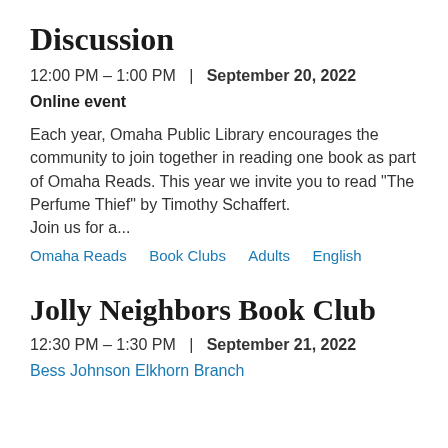Discussion
12:00 PM – 1:00 PM  |  September 20, 2022
Online event
Each year, Omaha Public Library encourages the community to join together in reading one book as part of Omaha Reads. This year we invite you to read "The Perfume Thief" by Timothy Schaffert. Join us for a...
Omaha Reads    Book Clubs    Adults    English
Jolly Neighbors Book Club
12:30 PM – 1:30 PM  |  September 21, 2022
Bess Johnson Elkhorn Branch